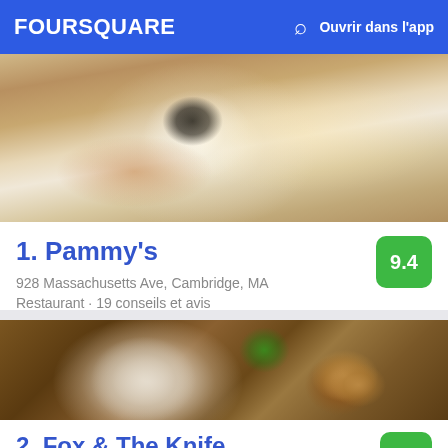FOURSQUARE  Ouvrir dans l'app
[Figure (photo): Close-up photo of a baked egg dish with melted mozzarella cheese on top of dark sauce, on a white ceramic plate with orange-red spices scattered around]
1. Pammy's
928 Massachusetts Ave, Cambridge, MA
Restaurant · 19 conseils et avis
[Figure (photo): Photo of a plate with roasted or fried vegetables (artichokes/Brussels sprouts) garnished with mint leaves and parmesan, alongside a brown ceramic bowl with round bread/biscuits]
2. Fox & The Knife